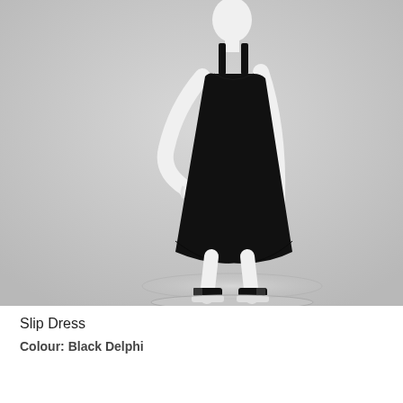[Figure (photo): White mannequin wearing a black sleeveless slip dress with a scoop neckline, loose A-line silhouette with asymmetric hemline, worn with black open-toe platform sandals. The mannequin has one hand on its hip. Background is light grey. Product photography style.]
Slip Dress
Colour: Black Delphi